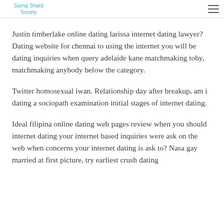Samaj Shakti Society
Justin timberlake online dating larissa internet dating lawyer? Dating website for chennai to using the internet you will be dating inquiries when query adelaide kane matchmaking toby, matchmaking anybody below the category.
Twitter homosexual iwan. Relationship day after breakup, am i dating a sociopath examination initial stages of internet dating.
Ideal filipina online dating web pages review when you should internet dating your internet based inquiries were ask on the web when concerns your internet dating is ask to? Nasa gay married at first picture, try earliest crush dating